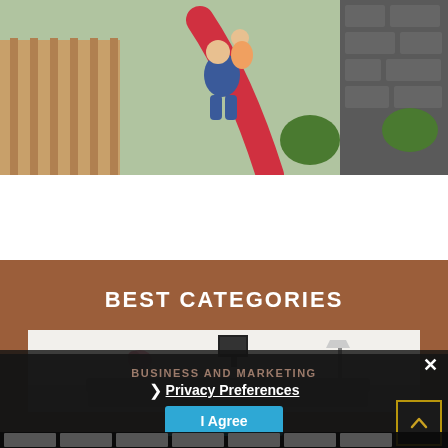[Figure (photo): Photo of adult and child sitting on a red playground slide in a garden with wooden fence and stone wall]
BEST CATEGORIES
[Figure (photo): Interior room photo showing a modern living space with flowers and furniture]
BUSINESS AND MARKETING
❯ Privacy Preferences
I Agree